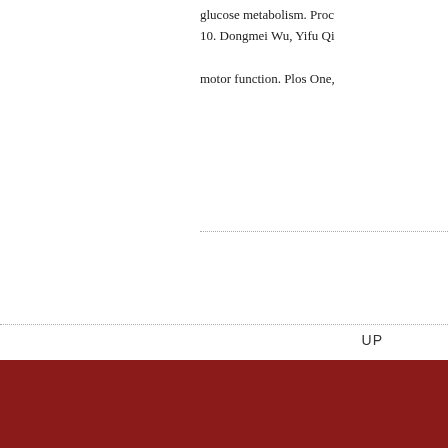glucose metabolism. Proc
10. Dongmei Wu, Yifu Qi
motor function. Plos One,
UP
[Figure (other): QR code with PKU logo in the center]
T   010-62758535
F
A   燕园1号
E   aais(AT)pku.edu.cn
北京大学
智能学院